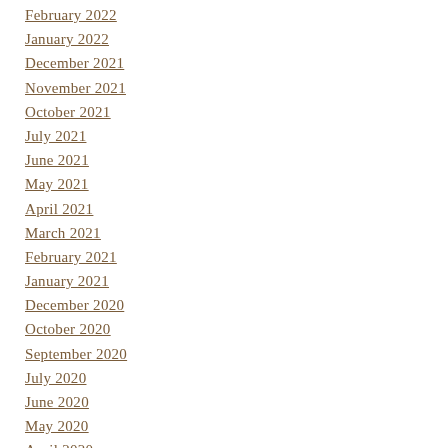February 2022
January 2022
December 2021
November 2021
October 2021
July 2021
June 2021
May 2021
April 2021
March 2021
February 2021
January 2021
December 2020
October 2020
September 2020
July 2020
June 2020
May 2020
April 2020